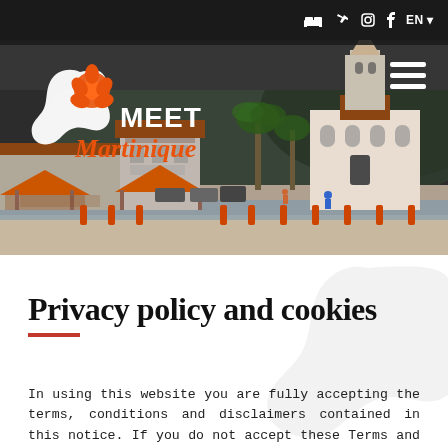[Figure (photo): Hero banner photograph of a Martinique town square with colonial buildings including a church with a bell tower, red-tiled roofed pavilions, palm trees, and mountains in the background. Dark navigation bar overlay at top.]
Privacy policy and cookies
In using this website you are fully accepting the terms, conditions and disclaimers contained in this notice. If you do not accept these Terms and Conditions you must immediately stop using the Website.